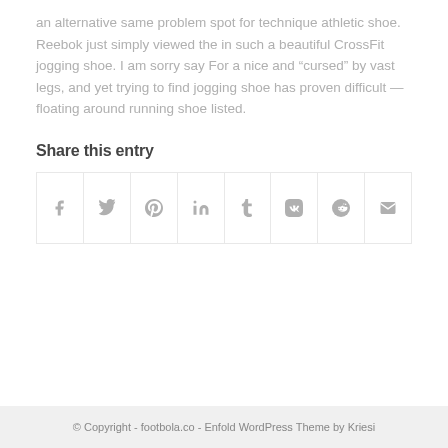an alternative same problem spot for technique athletic shoe. Reebok just simply viewed the in such a beautiful CrossFit jogging shoe. I am sorry say For a nice and “cursed” by vast legs, and yet trying to find jogging shoe has proven difficult — floating around running shoe listed.
Share this entry
[Figure (other): Social share bar with icons for Facebook, Twitter, Pinterest, LinkedIn, Tumblr, VK, Reddit, and Email]
© Copyright - footbola.co - Enfold WordPress Theme by Kriesi